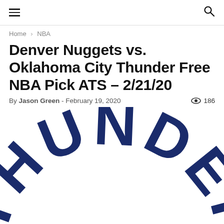☰  🔍
Home › NBA
Denver Nuggets vs. Oklahoma City Thunder Free NBA Pick ATS – 2/21/20
By Jason Green - February 19, 2020  👁 186
[Figure (photo): Oklahoma City Thunder logo/wordmark in large dark navy blue arched letters spelling THUNDER on a white background, partially cropped at bottom of page.]